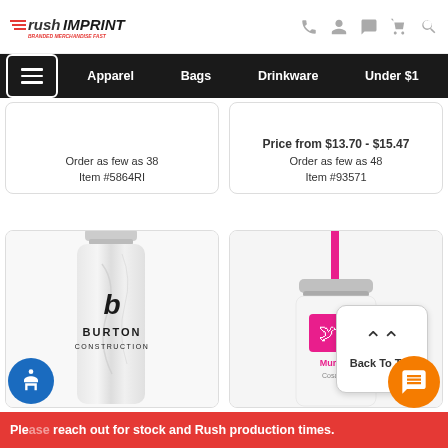rushIMPRINT - BRANDED MERCHANDISE FAST
Apparel | Bags | Drinkware | Under $1
Order as few as 38
Item #5864RI
Price from $13.70 - $15.47
Order as few as 48
Item #93571
[Figure (photo): White marble tumbler with Burton Construction logo]
[Figure (photo): White tumbler with pink straw and Murdoch Cosaries logo, with Back To Top button overlay]
Back To Top
Please reach out for stock and Rush production times.